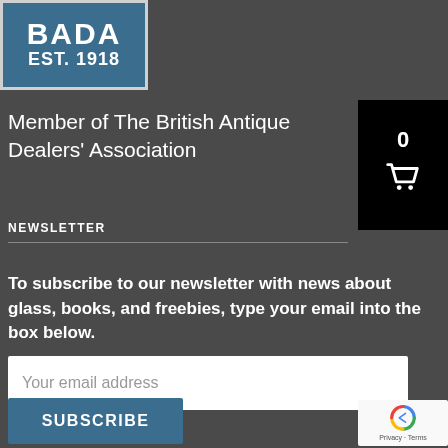[Figure (logo): BADA EST. 1918 logo — blue rectangle with white border containing the text BADA in bold and EST. 1918 below]
Member of The British Antique Dealers' Association
NEWSLETTER
To subscribe to our newsletter with news about glass, books, and freebies, type your email into the box below.
Your email address
SUBSCRIBE